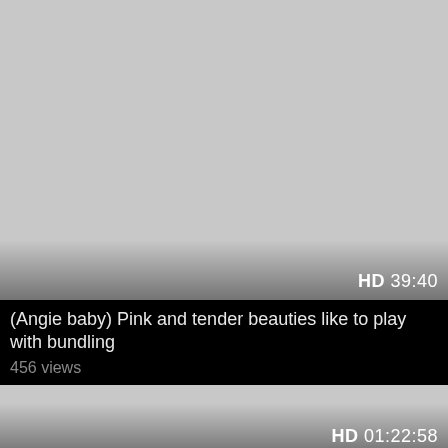[Figure (screenshot): Video thumbnail placeholder — gray rectangle with gradient at bottom, HD badge and duration 39:40 in bottom right]
(Angie baby) Pink and tender beauties like to play with bundling
456 views
[Figure (screenshot): Video thumbnail placeholder — gray rectangle with gradient at bottom, HD badge and duration 01:22:58 in bottom right]